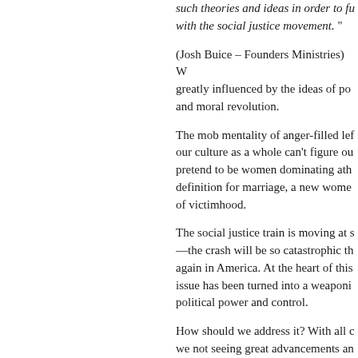such theories and ideas in order to fu… with the social justice movement.”
(Josh Buice – Founders Ministries) W… greatly influenced by the ideas of po… and moral revolution.
The mob mentality of anger-filled lef… our culture as a whole can’t figure ou… pretend to be women dominating ath… definition for marriage, a new wome… of victimhood.
The social justice train is moving at s… —the crash will be so catastrophic th… again in America. At the heart of this… issue has been turned into a weaponi… political power and control.
How should we address it? With all c… we not seeing great advancements an… solution being offered by many evan… controversy rather than offering the…